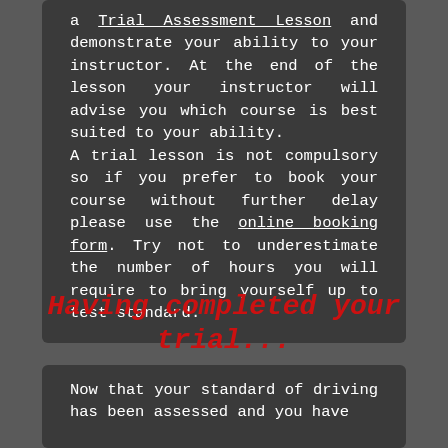a Trial Assessment Lesson and demonstrate your ability to your instructor. At the end of the lesson your instructor will advise you which course is best suited to your ability. A trial lesson is not compulsory so if you prefer to book your course without further delay please use the online booking form. Try not to underestimate the number of hours you will require to bring yourself up to test standard.
Having completed your trial...
Now that your standard of driving has been assessed and you have